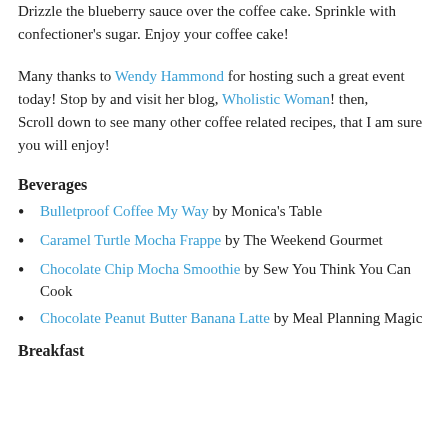Drizzle the blueberry sauce over the coffee cake. Sprinkle with confectioner's sugar. Enjoy your coffee cake!
Many thanks to Wendy Hammond for hosting such a great event today! Stop by and visit her blog, Wholistic Woman! then, Scroll down to see many other coffee related recipes, that I am sure you will enjoy!
Beverages
Bulletproof Coffee My Way by Monica's Table
Caramel Turtle Mocha Frappe by The Weekend Gourmet
Chocolate Chip Mocha Smoothie by Sew You Think You Can Cook
Chocolate Peanut Butter Banana Latte by Meal Planning Magic
Breakfast